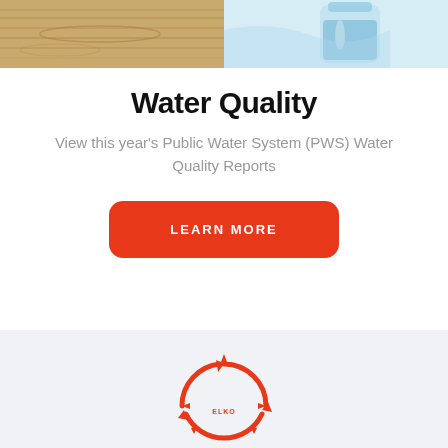[Figure (photo): Banner image showing a wooden table on the left and a glass jar of water on the right]
Water Quality
View this year's Public Water System (PWS) Water Quality Reports
LEARN MORE
[Figure (logo): Circular logo with red arrows forming a circle pattern, partially visible at bottom of page]